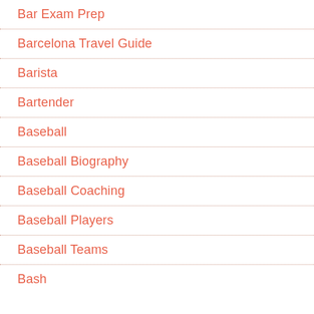Bar Exam Prep
Barcelona Travel Guide
Barista
Bartender
Baseball
Baseball Biography
Baseball Coaching
Baseball Players
Baseball Teams
Bash